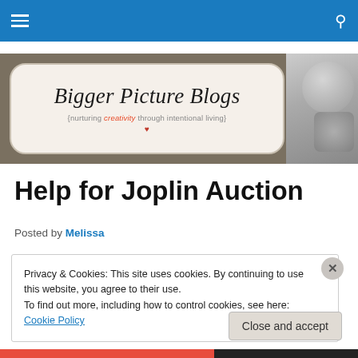Navigation bar with hamburger menu and search icon
[Figure (logo): Bigger Picture Blogs banner logo with text 'Bigger Picture Blogs' and subtitle '[nurturing creativity through intentional living]' on a taupe/brown background with decorative photo on right]
Help for Joplin Auction
Posted by Melissa
Privacy & Cookies: This site uses cookies. By continuing to use this website, you agree to their use.
To find out more, including how to control cookies, see here: Cookie Policy
Close and accept